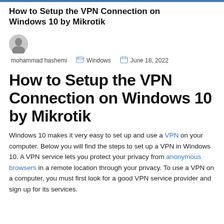How to Setup the VPN Connection on Windows 10 by Mikrotik
mohammad hashemi   Windows   June 18, 2022
How to Setup the VPN Connection on Windows 10 by Mikrotik
Windows 10 makes it very easy to set up and use a VPN on your computer. Below you will find the steps to set up a VPN in Windows 10. A VPN service lets you protect your privacy from anonymous browsers in a remote location through your privacy. To use a VPN on a computer, you must first look for a good VPN service provider and sign up for its services.